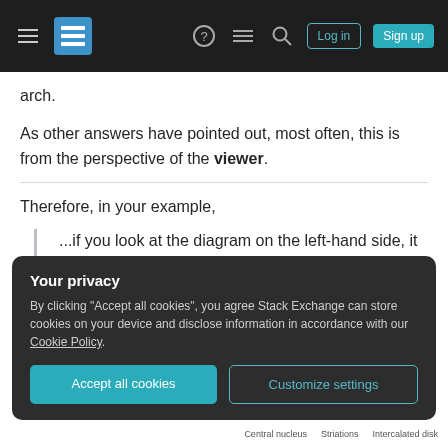Stack Exchange navigation bar with Log in and Sign up buttons
arch.
As other answers have pointed out, most often, this is from the perspective of the viewer.
Therefore, in your example,
...if you look at the diagram on the left-hand side, it explains what these intercalacted disks are.
Your privacy
By clicking "Accept all cookies", you agree Stack Exchange can store cookies on your device and disclose information in accordance with our Cookie Policy.
Accept all cookies   Customize settings
Central nucleus   Striations   Intercalated disk